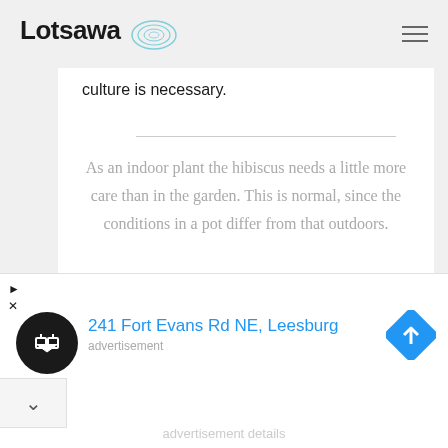Lotsawa
culture is necessary.
As an indoor plant the hibiscus needs a little more care than in the garden. This is normal, since the conditions in a pot differ from that outdoors.
Hibiscus are tropical plants that thrive in full sun, moist soil, with consistent warm temperatures. The reason for a hibiscus
241 Fort Evans Rd NE, Leesburg